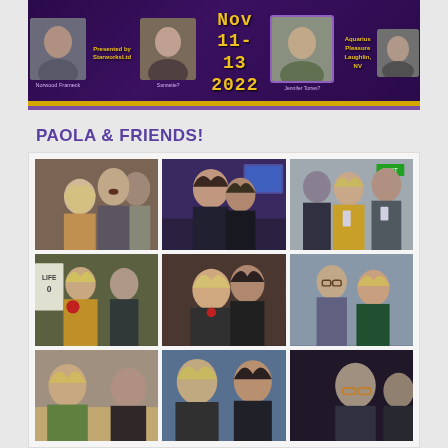[Figure (photo): Event banner for a conference Nov 11-13 2022, presented by StarworksLtd, at Aquarius Pleasure Laughlin NV. Dark purple background with gold text and portrait photos of speakers.]
PAOLA & FRIENDS!
[Figure (photo): 3x3 grid of candid photos showing Paola with various friends at a conference event. Row 1: couple embracing (man with mustache and blonde woman), couple hugging (dark background), three people posing. Row 2: two people at conference event with badge, couple smiling closely, older man with blonde woman. Row 3: people at table, two people posing, dark stage photo with person.]